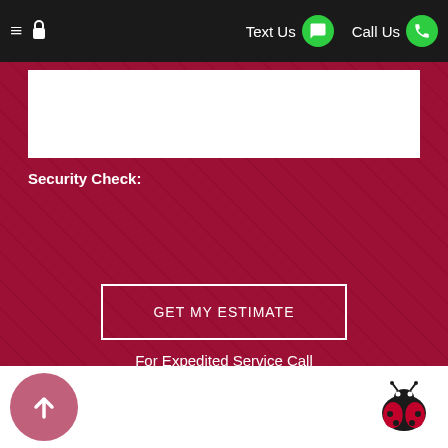Text Us | Call Us
Security Check:
GET MY ESTIMATE
For Expedited Service Call
(518) 501-1249
Scroll to top | Logo